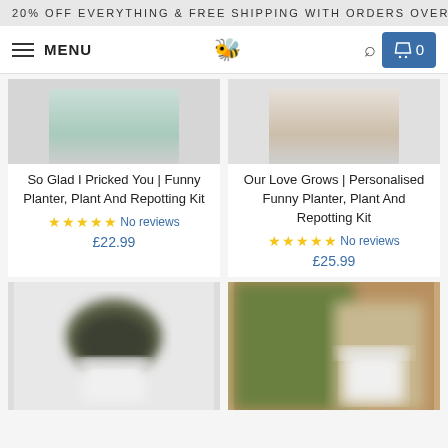20% OFF EVERYTHING & FREE SHIPPING WITH ORDERS OVER
MENU | 🐝 | 🔍 | 0
[Figure (photo): Product image top portion of So Glad I Pricked You planter]
So Glad I Pricked You | Funny Planter, Plant And Repotting Kit
☆☆☆☆☆ No reviews
£22.99
[Figure (photo): Product image top portion of Our Love Grows personalised planter]
Our Love Grows | Personalised Funny Planter, Plant And Repotting Kit
☆☆☆☆☆ No reviews
£25.99
[Figure (photo): Blurred product image of a plant in white pot]
[Figure (photo): Blurred product image of a planter kit with colourful background]